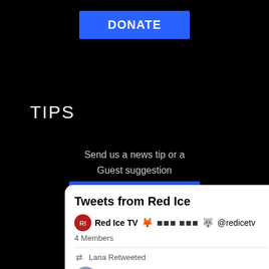[Figure (screenshot): Blue DONATE button centered at top of black background]
TIPS
Send us a news tip or a Guest suggestion
[Figure (screenshot): Blue SEND TIP button centered on black background]
[Figure (screenshot): White Twitter card showing Tweets from Red Ice, Red Ice TV account with 4 Members, Lana Retweeted section, and profile avatar with Pete name and Twitter bird icon]